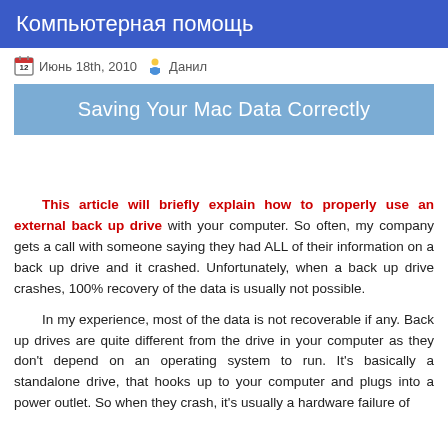Компьютерная помощь
Июнь 18th, 2010  Данил
Saving Your Mac Data Correctly
This article will briefly explain how to properly use an external back up drive with your computer. So often, my company gets a call with someone saying they had ALL of their information on a back up drive and it crashed. Unfortunately, when a back up drive crashes, 100% recovery of the data is usually not possible.
In my experience, most of the data is not recoverable if any. Back up drives are quite different from the drive in your computer as they don't depend on an operating system to run. It's basically a standalone drive, that hooks up to your computer and plugs into a power outlet. So when they crash, it's usually a hardware failure of some sort and that is an expensive thing...